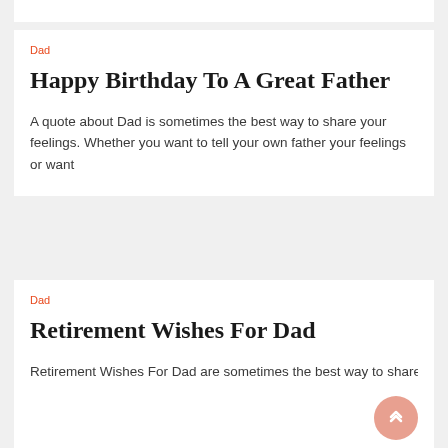Dad
Happy Birthday To A Great Father
A quote about Dad is sometimes the best way to share your feelings. Whether you want to tell your own father your feelings or want
Dad
Retirement Wishes For Dad
Retirement Wishes For Dad are sometimes the best